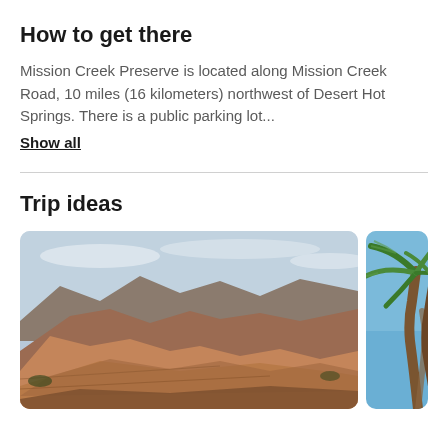How to get there
Mission Creek Preserve is located along Mission Creek Road, 10 miles (16 kilometers) northwest of Desert Hot Springs. There is a public parking lot...
Show all
Trip ideas
[Figure (photo): Desert red rock formation landscape with layered sandstone cliffs and blue sky]
[Figure (photo): Palm trees against a blue sky, partially visible on right side]